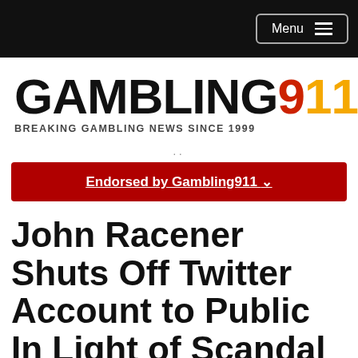Menu
[Figure (logo): Gambling911 logo with text GAMBLING in black bold, 9 in red, 11 in orange/yellow, and tagline BREAKING GAMBLING NEWS SINCE 1999]
..
Endorsed by Gambling911 ▾
John Racener Shuts Off Twitter Account to Public In Light of Scandal